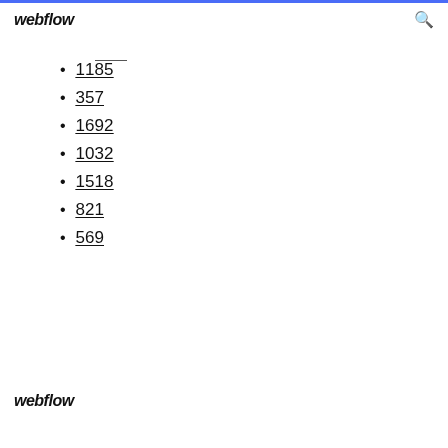webflow
1185
357
1692
1032
1518
821
569
webflow